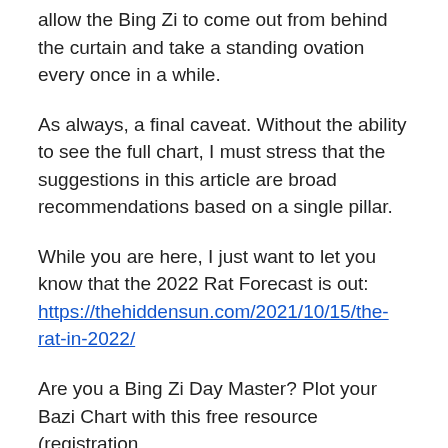allow the Bing Zi to come out from behind the curtain and take a standing ovation every once in a while.
As always, a final caveat. Without the ability to see the full chart, I must stress that the suggestions in this article are broad recommendations based on a single pillar.
While you are here, I just want to let you know that the 2022 Rat Forecast is out: https://thehiddensun.com/2021/10/15/the-rat-in-2022/
Are you a Bing Zi Day Master? Plot your Bazi Chart with this free resource (registration